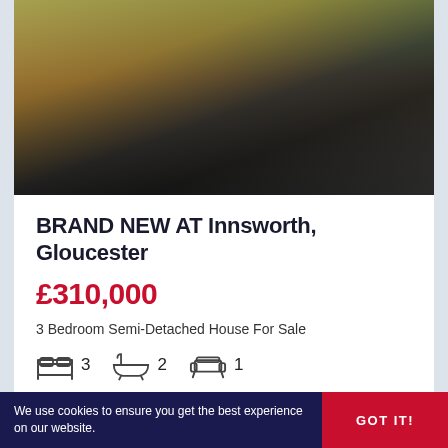[Figure (photo): Exterior photo of a residential property showing a driveway with black metal fence/railings, brick paving, autumn leaves, and a house in the background]
BRAND NEW AT Innsworth, Gloucester
£310,000
3 Bedroom Semi-Detached House For Sale
3 bedrooms, 2 bathrooms, 1 reception
Add To Shortlist  View Shortlist
We use cookies to ensure you get the best experience on our website.